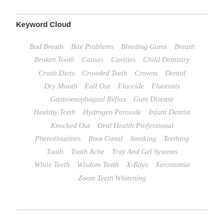Keyword Cloud
Bad Breath   Bite Problems   Bleeding Gums   Breath   Broken Tooth   Causes   Cavities   Child Dentistry   Crash Diets   Crowded Teeth   Crowns   Dental   Dry Mouth   Fall Out   Fluoride   Fluorosis   Gastroesophageal Reflux   Gum Disease   Healthy Teeth   Hydrogen Peroxide   Infant Dentist   Knocked Out   Oral Health Professional   Phenothiazines   Root Canal   Smoking   Teething   Tooth   Tooth Ache   Tray And Gel Systems   White Teeth   Wisdom Teeth   X-Rays   Xerostomia   Zoom Teeth Whitening